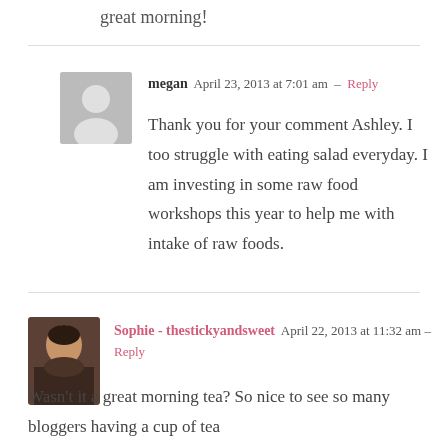great morning!
megan  April 23, 2013 at 7:01 am  –  Reply
Thank you for your comment Ashley. I too struggle with eating salad everyday. I am investing in some raw food workshops this year to help me with intake of raw foods.
Sophie - thestickyandsweet  April 22, 2013 at 11:32 am  –  Reply
Wasn't it a great morning tea? So nice to see so many bloggers having a cup of tea